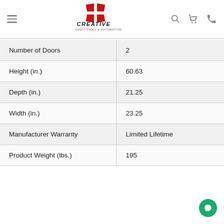Creative Audio Video & Automation — navigation header with logo, search, cart, and phone icons
| Number of Doors | 2 |
| Height (in.) | 60.63 |
| Depth (in.) | 21.25 |
| Width (in.) | 23.25 |
| Manufacturer Warranty | Limited Lifetime |
| Product Weight (lbs.) | 195 |